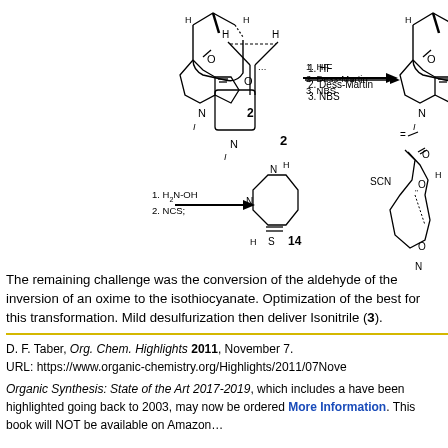[Figure (schematic): Organic chemistry reaction scheme showing synthesis steps. Compound 2 treated with 1. HF, 2. Dess-Martin, 3. NBS gives compound 12, then NaH step. Also shows 1. H2N-OH, 2. NCS conditions giving compound 14 (hexahydropyrimidine-2-thione), compound 15 (complex isonitrile intermediate), compound 16 (phosphoramide reagent), and label N-Methylwelwitin...]
The remaining challenge was the conversion of the aldehyde of the inversion of an oxime to the isothiocyanate. Optimization of the best for this transformation. Mild desulfurization then deliver Isonitrile (3).
D. F. Taber, Org. Chem. Highlights 2011, November 7.
URL: https://www.organic-chemistry.org/Highlights/2011/07Nove
Organic Synthesis: State of the Art 2017-2019, which includes a have been highlighted going back to 2003, may now be ordered More Information. This book will NOT be available on Amazon...